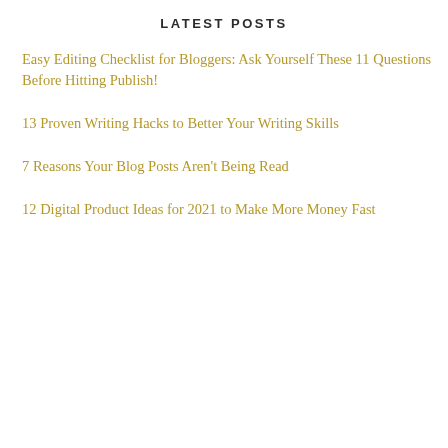LATEST POSTS
Easy Editing Checklist for Bloggers: Ask Yourself These 11 Questions Before Hitting Publish!
13 Proven Writing Hacks to Better Your Writing Skills
7 Reasons Your Blog Posts Aren't Being Read
12 Digital Product Ideas for 2021 to Make More Money Fast